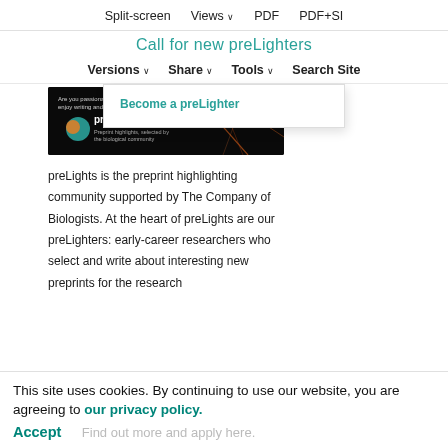Split-screen   Views ∨   PDF   PDF+SI
Call for new preLighters
Versions ∨   Share ∨   Tools ∨   Search Site
[Figure (screenshot): preLights banner image: dark background with neurons, preLights logo, text 'Are you passionate about preprints and enjoy writing and communicating science?' and 'Become a preLighter' button]
preLights is the preprint highlighting community supported by The Company of Biologists. At the heart of preLights are our preLighters: early-career researchers who select and write about interesting new preprints for the research
This site uses cookies. By continuing to use our website, you are agreeing to our privacy policy.
Accept   Find out more and apply here.